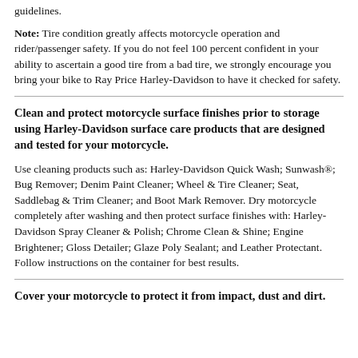guidelines.
Note: Tire condition greatly affects motorcycle operation and rider/passenger safety. If you do not feel 100 percent confident in your ability to ascertain a good tire from a bad tire, we strongly encourage you bring your bike to Ray Price Harley-Davidson to have it checked for safety.
Clean and protect motorcycle surface finishes prior to storage using Harley-Davidson surface care products that are designed and tested for your motorcycle.
Use cleaning products such as: Harley-Davidson Quick Wash; Sunwash®; Bug Remover; Denim Paint Cleaner; Wheel & Tire Cleaner; Seat, Saddlebag & Trim Cleaner; and Boot Mark Remover. Dry motorcycle completely after washing and then protect surface finishes with: Harley-Davidson Spray Cleaner & Polish; Chrome Clean & Shine; Engine Brightener; Gloss Detailer; Glaze Poly Sealant; and Leather Protectant. Follow instructions on the container for best results.
Cover your motorcycle to protect it from impact, dust and dirt.